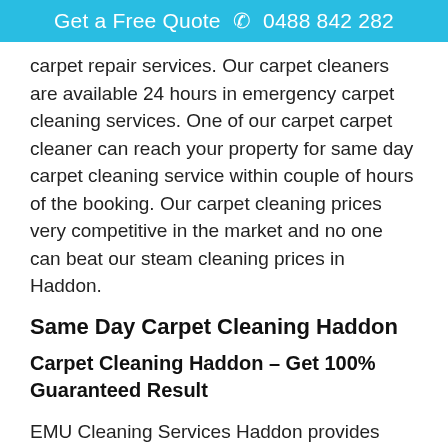Get a Free Quote  ☎ 0488 842 282
carpet repair services. Our carpet cleaners are available 24 hours in emergency carpet cleaning services. One of our carpet carpet cleaner can reach your property for same day carpet cleaning service within couple of hours of the booking. Our carpet cleaning prices very competitive in the market and no one can beat our steam cleaning prices in Haddon.
Same Day Carpet Cleaning Haddon
Carpet Cleaning Haddon – Get 100%  Guaranteed Result
EMU Cleaning Services Haddon provides affordable same day carpet steam cleaning services in Haddon. Our carpet cleaners are available 24 X 7 for emergency flood damage carpet restoration requirements